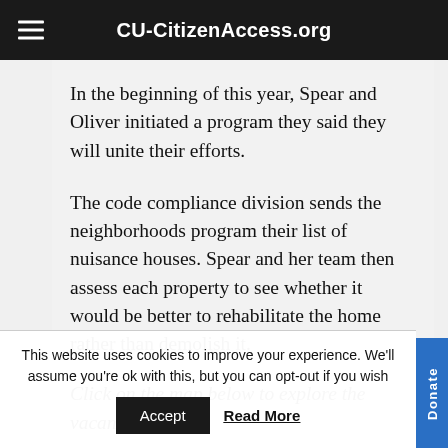CU-CitizenAccess.org
In the beginning of this year, Spear and Oliver initiated a program they said they will unite their efforts.
The code compliance division sends the neighborhoods program their list of nuisance houses. Spear and her team then assess each property to see whether it would be better to rehabilitate the home rather than demolish it.
Click on the map below to explore the vacant
This website uses cookies to improve your experience. We'll assume you're ok with this, but you can opt-out if you wish
Accept
Read More
Donate